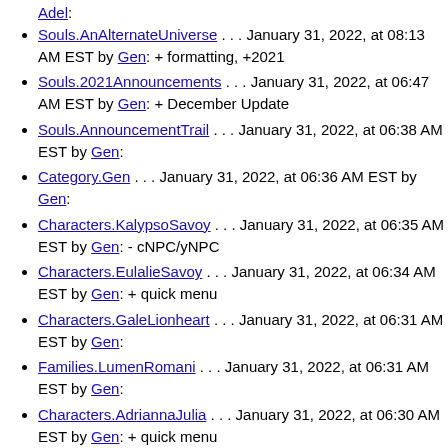Adel: (truncated top)
Souls.AnAlternateUniverse . . . January 31, 2022, at 08:13 AM EST by Gen: + formatting, +2021
Souls.2021Announcements . . . January 31, 2022, at 06:47 AM EST by Gen: + December Update
Souls.AnnouncementTrail . . . January 31, 2022, at 06:38 AM EST by Gen:
Category.Gen . . . January 31, 2022, at 06:36 AM EST by Gen:
Characters.KalypsoSavoy . . . January 31, 2022, at 06:35 AM EST by Gen: - cNPC/yNPC
Characters.EulalieSavoy . . . January 31, 2022, at 06:34 AM EST by Gen: + quick menu
Characters.GaleLionheart . . . January 31, 2022, at 06:31 AM EST by Gen:
Families.LumenRomani . . . January 31, 2022, at 06:31 AM EST by Gen:
Characters.AdriannaJulia . . . January 31, 2022, at 06:30 AM EST by Gen: + quick menu (truncated bottom)